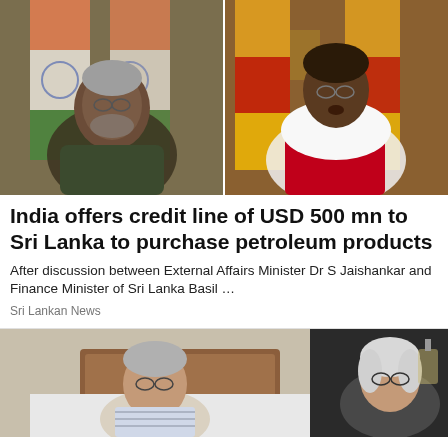[Figure (photo): Two-panel video call screenshot: left panel shows Indian External Affairs Minister Dr S Jaishankar in a dark green sweater with Indian flags in background; right panel shows Sri Lanka Finance Minister Basil Rajapaksa in red and white attire with Sri Lankan flags in background.]
India offers credit line of USD 500 mn to Sri Lanka to purchase petroleum products
After discussion between External Affairs Minister Dr S Jaishankar and Finance Minister of Sri Lanka Basil …
Sri Lankan News
[Figure (photo): Two elderly people sitting/lying on a bed, both wearing glasses. Left person is a man in a striped shirt, right is a woman with white/grey hair.]